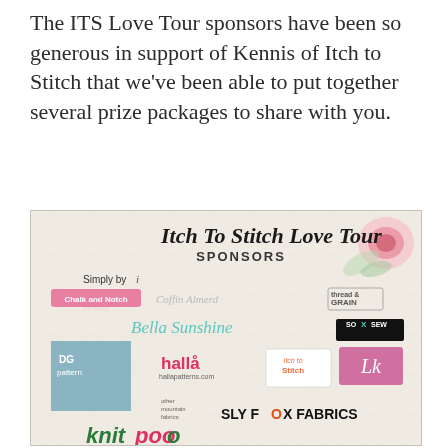The ITS Love Tour sponsors have been so generous in support of Kennis of Itch to Stitch that we've been able to put together several prize packages to share with you.
[Figure (infographic): Itch To Stitch Love Tour Sponsors collage showing multiple sponsor logos including Simply by i, Chalk and Notch Patterns, Coffin Aberd, Thread & Grain, Bella Sunshine, So Sew, DG Patterns, Hallå (hallapatterns.com), Itch to Stitch, LK, Sly Fox Fabrics, knitpoo, and others on a floral vintage background.]